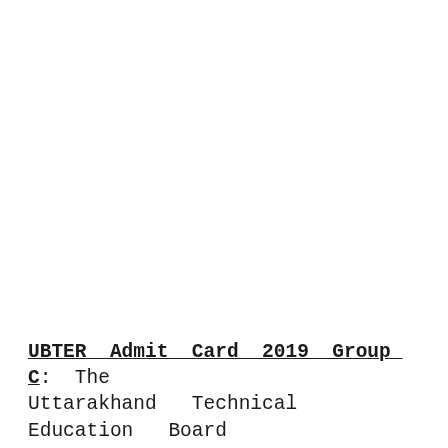UBTER Admit Card 2019 Group C: The Uttarakhand Technical Education Board